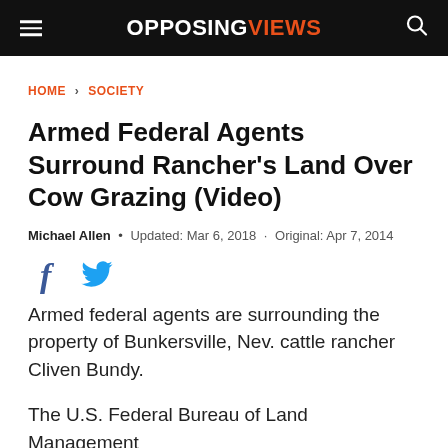OPPOSINGVIEWS
HOME › SOCIETY
Armed Federal Agents Surround Rancher's Land Over Cow Grazing (Video)
Michael Allen • Updated: Mar 6, 2018 · Original: Apr 7, 2014
Armed federal agents are surrounding the property of Bunkersville, Nev. cattle rancher Cliven Bundy.
The U.S. Federal Bureau of Land Management